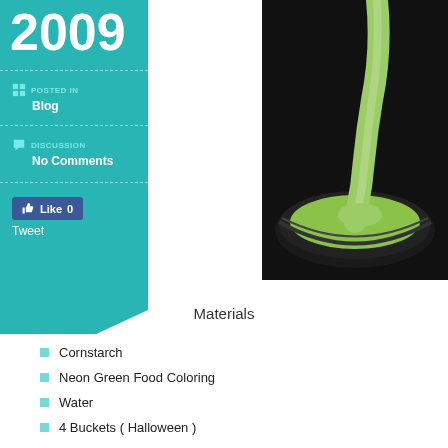2009
POSTED IN
Blog
DISCUSSION
No Comments
Like 0
Tweet
[Figure (photo): Green slime or matcha liquid being poured into a dark bowl, top-down view]
Materials
Cornstarch
Neon Green Food Coloring
Water
4 Buckets ( Halloween )